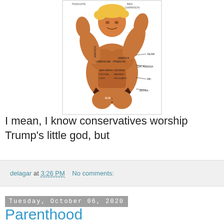[Figure (illustration): Political cartoon/illustration of a muscular Trump-like figure posing, with various labels written on the body. Artist credited as Ben Garrison. The figure has blonde hair and is wearing dark underwear. Various political labels are written on the body parts.]
I mean, I know conservatives worship Trump's little god, but
delagar at 3:26 PM    No comments:
Tuesday, October 06, 2020
Parenthood